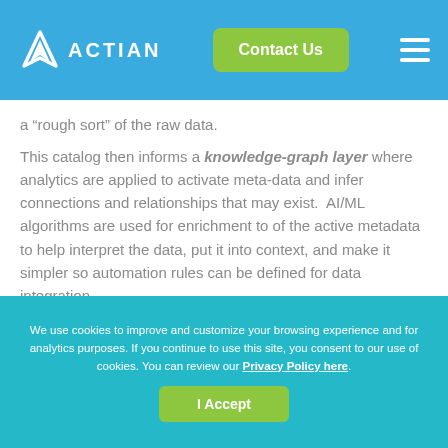ACTIAN | Contact Us
a “rough sort” of the raw data.
This catalog then informs a knowledge-graph layer where analytics are applied to activate meta-data and infer connections and relationships that may exist.  AI/ML algorithms are used for enrichment to of the active metadata to help interpret the data, put it into context, and make it simpler so automation rules can be defined for data integration.
We use cookies to improve and customize your browsing experience and for analytics purposes. If you continue to use this site, you consent to our use of cookies. You can review our Privacy Policy here.
I Accept